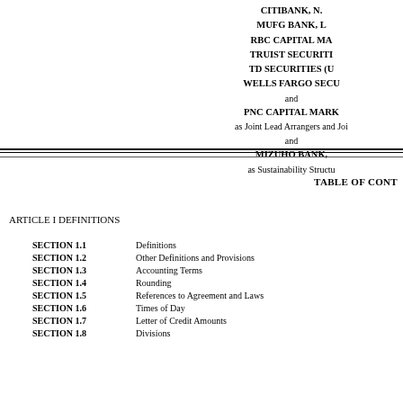CITIBANK, N.
MUFG BANK, L
RBC CAPITAL MA
TRUIST SECURITI
TD SECURITIES (U
WELLS FARGO SECU
and
PNC CAPITAL MARK
as Joint Lead Arrangers and Joi
and
MIZUHO BANK,
as Sustainability Structu
TABLE OF CONT
ARTICLE I DEFINITIONS
| Section | Description |
| --- | --- |
| SECTION 1.1 | Definitions |
| SECTION 1.2 | Other Definitions and Provisions |
| SECTION 1.3 | Accounting Terms |
| SECTION 1.4 | Rounding |
| SECTION 1.5 | References to Agreement and Laws |
| SECTION 1.6 | Times of Day |
| SECTION 1.7 | Letter of Credit Amounts |
| SECTION 1.8 | Divisions |